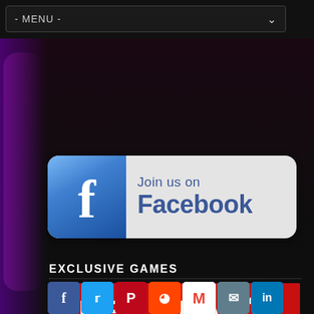- MENU -
[Figure (screenshot): Dark gaming website background with purple-tinted character silhouette on the left side]
[Figure (logo): Join us on Facebook button with Facebook icon and blue text]
EXCLUSIVE GAMES
[Figure (screenshot): Red Dead Redemption 2 game banner on red background]
[Figure (infographic): Social share buttons: Facebook, Twitter, Pinterest, Reddit, Gmail, Email, LinkedIn]